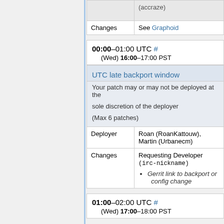|  |  |
| --- | --- |
| Changes | See Graphoid |
00:00–01:00 UTC # (Wed) 16:00–17:00 PST
| UTC late backport window |  |
| --- | --- |
|  | Your patch may or may not be deployed at the sole discretion of the deployer (Max 6 patches) |
| Deployer | Roan (RoanKattouw), Martin (Urbanecm) |
| Changes | Requesting Developer (irc-nickname)
• Gerrit link to backport or config change |
01:00–02:00 UTC # (Wed) 17:00–18:00 PST